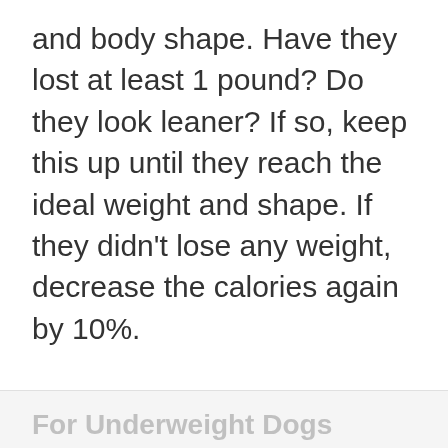and body shape. Have they lost at least 1 pound? Do they look leaner? If so, keep this up until they reach the ideal weight and shape. If they didn't lose any weight, decrease the calories again by 10%.
For Underweight Dogs